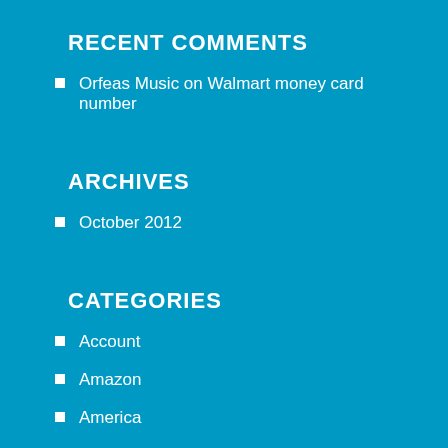RECENT COMMENTS
Orfeas Music on Walmart money card number
ARCHIVES
October 2012
CATEGORIES
Account
Amazon
America
And